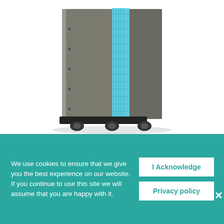[Figure (photo): Photo of a tall server/equipment rack cabinet in gray/charcoal color with black base and caster wheels, open on the right side revealing blue UV light inside, on white background.]
We use cookies to ensure that we give you the best experience on our website. If you continue to use this site we will assume that you are happy with it.
I Acknowledge
Privacy policy